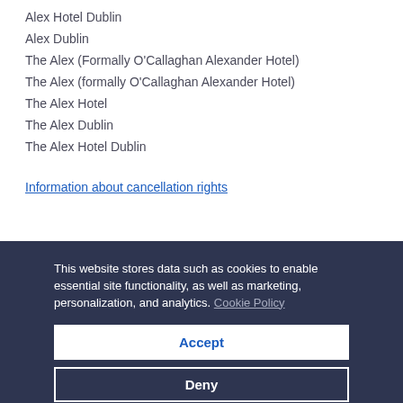Alex Hotel Dublin
Alex Dublin
The Alex (Formally O'Callaghan Alexander Hotel)
The Alex (formally O'Callaghan Alexander Hotel)
The Alex Hotel
The Alex Dublin
The Alex Hotel Dublin
Information about cancellation rights
This website stores data such as cookies to enable essential site functionality, as well as marketing, personalization, and analytics. Cookie Policy
Accept
Deny